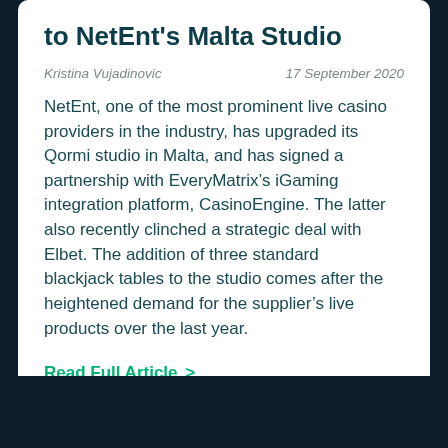to NetEnt's Malta Studio
Kristina Vujadinovic   17 September 2020
NetEnt, one of the most prominent live casino providers in the industry, has upgraded its Qormi studio in Malta, and has signed a partnership with EveryMatrix’s iGaming integration platform, CasinoEngine. The latter also recently clinched a strategic deal with Elbet. The addition of three standard blackjack tables to the studio comes after the heightened demand for the supplier’s live products over the last year.
Read Full Article >